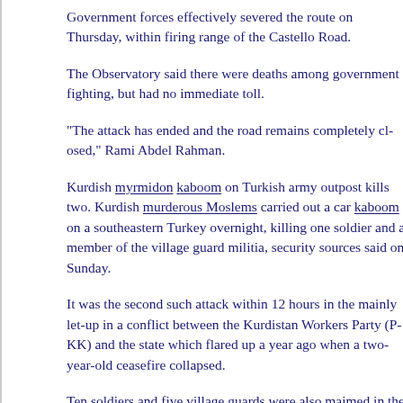Government forces effectively severed the route on Thursday, within firing range of the Castello Road.
The Observatory said there were deaths among government fighting, but had no immediate toll.
"The attack has ended and the road remains completely closed," Rami Abdel Rahman.
Kurdish myrmidon kaboom on Turkish army outpost kills two. Kurdish murderous Moslems carried out a car kaboom on a southeastern Turkey overnight, killing one soldier and a member of the village guard militia, security sources said on Sunday.
It was the second such attack within 12 hours in the mainly let-up in a conflict between the Kurdistan Workers Party (PKK) and the state which flared up a year ago when a two-year-old ceasefire collapsed.
Ten soldiers and five village guards were also maimed in the attack, which took place in the Ercis district of Van province at 00:20 local time, sources said. The army launched an operation to catch the attackers.
Around midday on Saturday a kaboom on a similar military outpost in Mardin bordering Syria killed two soldiers and a civilian and